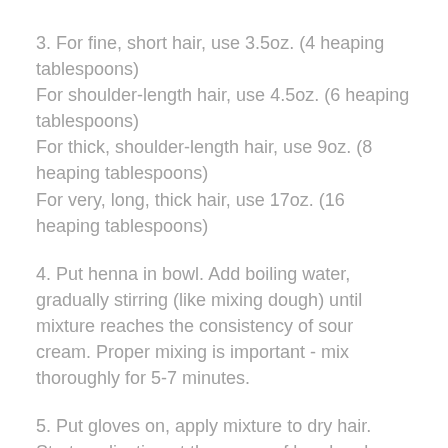3. For fine, short hair, use 3.5oz. (4 heaping tablespoons)
For shoulder-length hair, use 4.5oz. (6 heaping tablespoons)
For thick, shoulder-length hair, use 9oz. (8 heaping tablespoons)
For very, long, thick hair, use 17oz. (16 heaping tablespoons)
4. Put henna in bowl. Add boiling water, gradually stirring (like mixing dough) until mixture reaches the consistency of sour cream. Proper mixing is important - mix thoroughly for 5-7 minutes.
5. Put gloves on, apply mixture to dry hair. Start application at the crown of head and